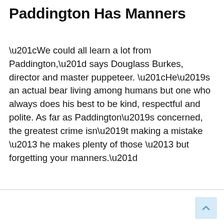Paddington Has Manners
“We could all learn a lot from Paddington,” says Douglass Burkes, director and master puppeteer. “He’s an actual bear living among humans but one who always does his best to be kind, respectful and polite. As far as Paddington’s concerned, the greatest crime isn’t making a mistake – he makes plenty of those – but forgetting your manners.”